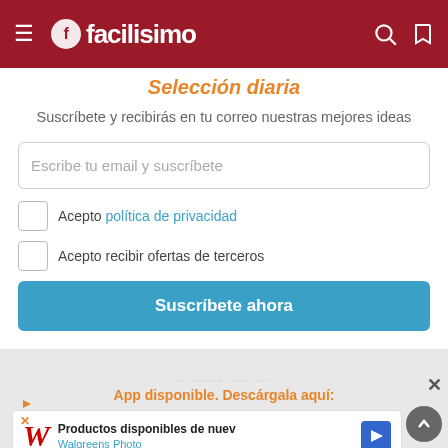[Figure (screenshot): facilisimo website header bar with hamburger menu, logo, search and bookmark icons on dark red background]
Selección diaria
Suscríbete y recibirás en tu correo nuestras mejores ideas
Escribe tu email y suscríbete
Acepto política de privacidad
Acepto recibir ofertas de terceros
Suscríbete ahora
App disponible. Descárgala aquí:
[Figure (screenshot): Walgreens Photo advertisement banner with W logo and navigation arrow icon, text: Productos disponibles de nuevo, Walgreens Photo]